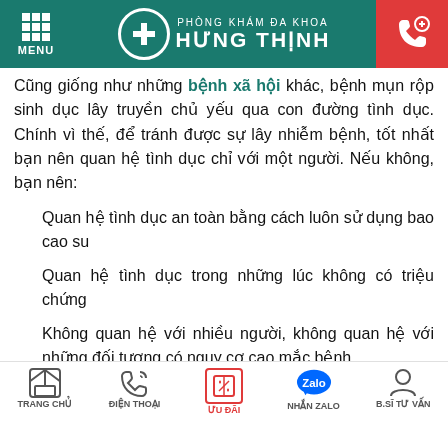PHÒNG KHÁM ĐA KHOA HƯNG THỊNH
Cũng giống như những bệnh xã hội khác, bệnh mụn rộp sinh dục lây truyền chủ yếu qua con đường tình dục. Chính vì thế, để tránh được sự lây nhiễm bệnh, tốt nhất bạn nên quan hệ tình dục chỉ với một người. Nếu không, bạn nên:
Quan hệ tình dục an toàn bằng cách luôn sử dụng bao cao su
Quan hệ tình dục trong những lúc không có triệu chứng
Không quan hệ với nhiều người, không quan hệ với những đối tượng có nguy cơ cao mắc bệnh.
Ngoài ra, để phòng tránh bệnh mụn rộp sinh dục, bạn cũng nên lưu ý một số những điều sau đây:
TRANG CHỦ   ĐIỆN THOẠI   ƯU ĐÃI   NHẮN ZALO   B.SĨ TƯ VẤN